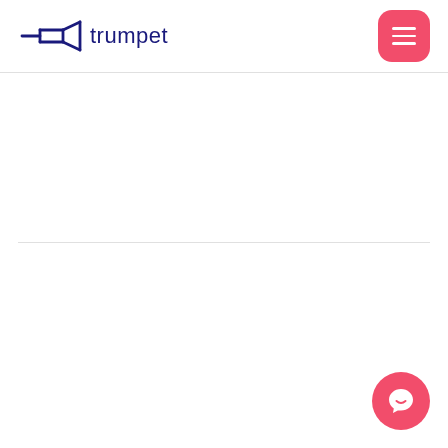[Figure (logo): Trumpet logo with trumpet icon and text 'trumpet' in dark navy blue]
[Figure (other): Pink/red hamburger menu button with three horizontal white lines, rounded square shape]
[Figure (other): Pink/red circular chat button with white speech bubble smile icon, bottom right corner]